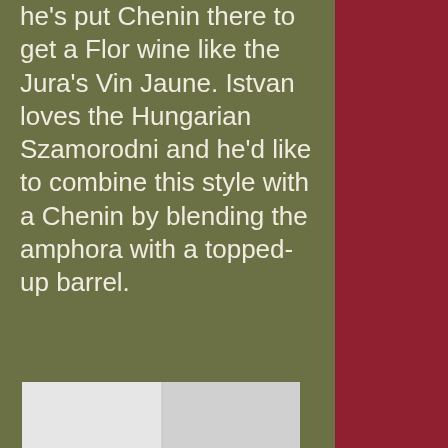he's put Chenin there to get a Flor wine like the Jura's Vin Jaune. Istvan loves the Hungarian Szamorodni and he'd like to combine this style with a Chenin by blending the amphora with a topped-up barrel.
[Figure (photo): Partial view of a white/light grey photograph at the bottom of the left column]